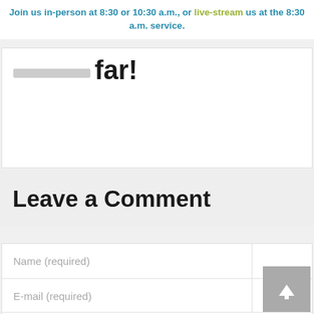Join us in-person at 8:30 or 10:30 a.m., or live-stream us at the 8:30 a.m. service.
far!
Leave a Comment
Name (required)
E-mail (required)